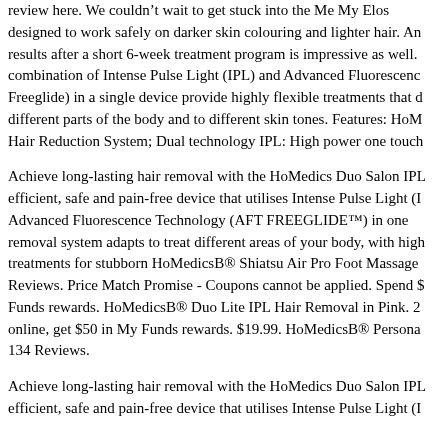review here. We couldn’t wait to get stuck into the Me My Elos designed to work safely on darker skin colouring and lighter hair. An results after a short 6-week treatment program is impressive as well. combination of Intense Pulse Light (IPL) and Advanced Fluorescence Freeglide) in a single device provide highly flexible treatments that d different parts of the body and to different skin tones. Features: HoM Hair Reduction System; Dual technology IPL: High power one touch
Achieve long-lasting hair removal with the HoMedics Duo Salon IPL efficient, safe and pain-free device that utilises Intense Pulse Light (I Advanced Fluorescence Technology (AFT FREEGLIDE™) in one removal system adapts to treat different areas of your body, with high treatments for stubborn HoMedicsB® Shiatsu Air Pro Foot Massager Reviews. Price Match Promise - Coupons cannot be applied. Spend $ Funds rewards. HoMedicsB® Duo Lite IPL Hair Removal in Pink. 2 online, get $50 in My Funds rewards. $19.99. HoMedicsB® Persona 134 Reviews.
Achieve long-lasting hair removal with the HoMedics Duo Salon IPL efficient, safe and pain-free device that utilises Intense Pulse Light (I